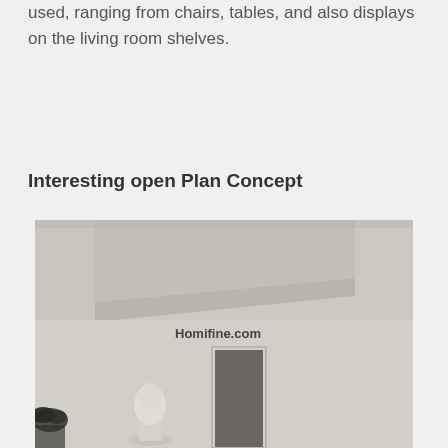used, ranging from chairs, tables, and also displays on the living room shelves.
Interesting open Plan Concept
[Figure (photo): Interior photo of a minimalist open-plan living space with white/beige walls, a diagonal ceiling beam, a doorway visible in the background, a sculptural bust on the wall, and a small plant in the lower left. Watermark reads 'Homifine.com'.]